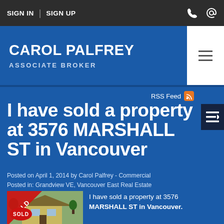SIGN IN | SIGN UP
CAROL PALFREY
ASSOCIATE BROKER
RSS Feed
I have sold a property at 3576 MARSHALL ST in Vancouver
Posted on April 1, 2014 by Carol Palfrey - Commercial
Posted in: Grandview VE, Vancouver East Real Estate
[Figure (photo): Property photo with red SOLD banner overlay showing a house]
I have sold a property at 3576 MARSHALL ST in Vancouver.
See details here